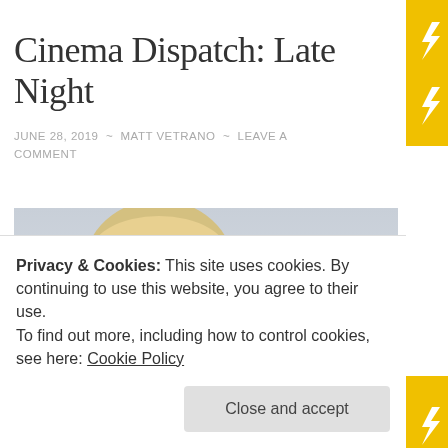Cinema Dispatch: Late Night
JUNE 28, 2019 ~ MATT VETRANO ~ LEAVE A COMMENT
[Figure (photo): Movie promotional poster for 'Late Night' featuring Emma Thompson and Mindy Kaling. Shows a woman with blonde hair looking surprised, with text reading EMMA THOMPSON, MINDY KALING, AMAZON ORIGINAL, LATE NIGHT]
Privacy & Cookies: This site uses cookies. By continuing to use this website, you agree to their use.
To find out more, including how to control cookies, see here: Cookie Policy
Close and accept